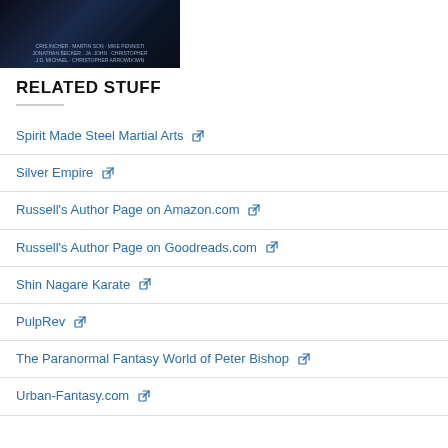[Figure (photo): Partial image of a dark book or DVD spine with light blue text showing author/contributor names, cropped at top]
RELATED STUFF
Spirit Made Steel Martial Arts ↗
Silver Empire ↗
Russell's Author Page on Amazon.com ↗
Russell's Author Page on Goodreads.com ↗
Shin Nagare Karate ↗
PulpRev ↗
The Paranormal Fantasy World of Peter Bishop ↗
Urban-Fantasy.com ↗